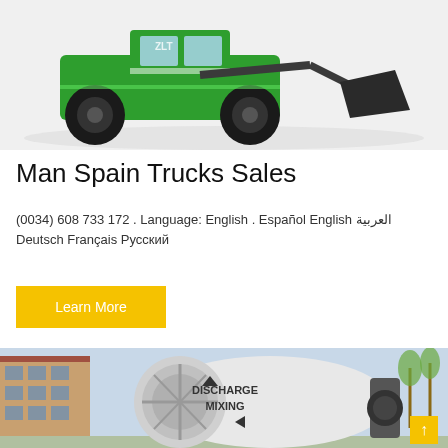[Figure (photo): Green construction wheel loader truck with a front bucket attachment, photographed on a white/grey background.]
Man Spain Trucks Sales
(0034) 608 733 172 . Language: English . Español English العربية Deutsch Français Русский
[Figure (photo): A large white concrete mixer drum labeled DISCHARGE MIXING, parked near a brick building with trees in the background.]